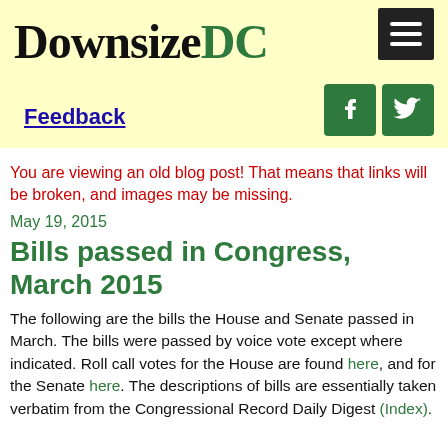[Figure (logo): DownsizeDC logo with 'Downsize' in black serif and 'DC' in green serif, plus hamburger menu icon and social media icons (Facebook, Twitter) on yellow background]
Feedback
You are viewing an old blog post! That means that links will be broken, and images may be missing.
May 19, 2015
Bills passed in Congress, March 2015
The following are the bills the House and Senate passed in March. The bills were passed by voice vote except where indicated. Roll call votes for the House are found here, and for theSenate here. The descriptions of bills are essentially taken verbatim from the Congressional Record Daily Digest (Index).